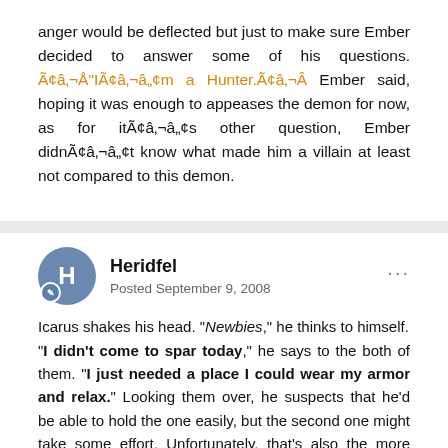anger would be deflected but just to make sure Ember decided to answer some of his questions. Ã¢â,¬Å"IÃ¢â,¬â„¢m a Hunter.Ã¢â,¬Â Ember said, hoping it was enough to appeases the demon for now, as for itÃ¢â,¬â„¢s other question, Ember didnÃ¢â,¬â„¢t know what made him a villain at least not compared to this demon.
Heridfel
Posted September 9, 2008
Icarus shakes his head. "Newbies," he thinks to himself. "I didn't come to spar today," he says to the both of them. "I just needed a place I could wear my armor and relax." Looking them over, he suspects that he'd be able to hold the one easily, but the second one might take some effort. Unfortunately, that's also the more belligerent one. He hopes that his words would be respected. "I'm Icarus," he says as an afterthought. He sounds like that should be enough - not arrogance, so much as knowing that he's been around the city for a while. What he fails to remember is